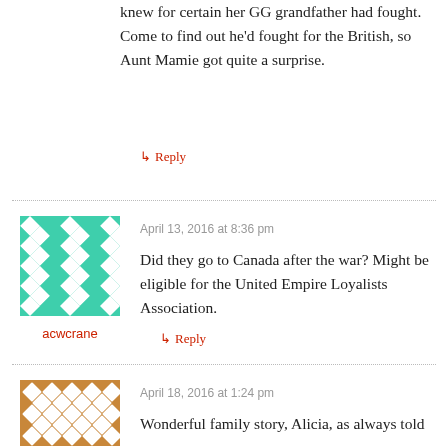knew for certain her GG grandfather had fought. Come to find out he'd fought for the British, so Aunt Mamie got quite a surprise.
↳ Reply
[Figure (illustration): Avatar image: green geometric quilt-pattern design square]
acwcrane
April 13, 2016 at 8:36 pm
Did they go to Canada after the war? Might be eligible for the United Empire Loyalists Association.
↳ Reply
[Figure (illustration): Avatar image: brown/gold and white geometric quilt-pattern design square]
April 18, 2016 at 1:24 pm
Wonderful family story, Alicia, as always told with…